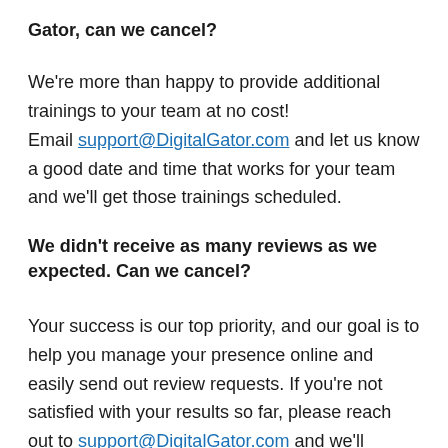Gator, can we cancel?
We're more than happy to provide additional trainings to your team at no cost! Email support@DigitalGator.com and let us know a good date and time that works for your team and we'll get those trainings scheduled.
We didn't receive as many reviews as we expected. Can we cancel?
Your success is our top priority, and our goal is to help you manage your presence online and easily send out review requests. If you're not satisfied with your results so far, please reach out to support@DigitalGator.com and we'll provide